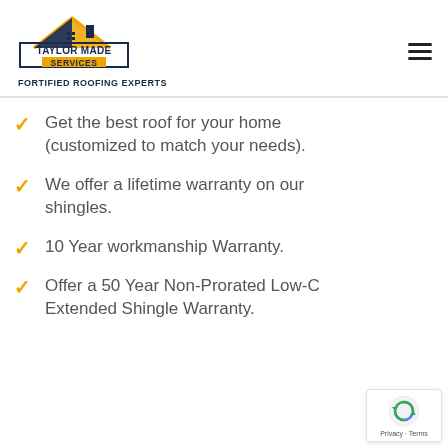[Figure (logo): Taylor Made Services - Fortified Roofing Experts logo with house/roof icon in navy and gold]
Get the best roof for your home (customized to match your needs).
We offer a lifetime warranty on our shingles.
10 Year workmanship Warranty.
Offer a 50 Year Non-Prorated Low-Cost Extended Shingle Warranty.